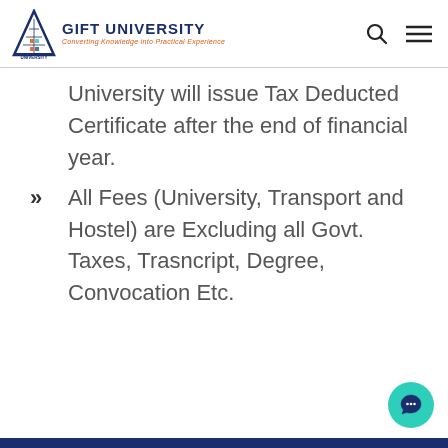GIFT UNIVERSITY — Converting Knowledge into Practical Experience
University will issue Tax Deducted Certificate after the end of financial year.
All Fees (University, Transport and Hostel) are Excluding all Govt. Taxes, Trasncript, Degree, Convocation Etc.